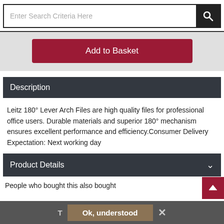[Figure (screenshot): Search bar with placeholder text 'Enter Search Criteria Here' and a dark search button with magnifying glass icon]
[Figure (screenshot): Red 'Add to Basket' button on a light grey background]
Description
Leitz 180° Lever Arch Files are high quality files for professional office users. Durable materials and superior 180° mechanism ensures excellent performance and efficiency.Consumer Delivery Expectation: Next working day
Product Details
People who bought this also bought
[Figure (screenshot): Cookie consent bar with 'T', 'Ok, understood' button, and X close button]